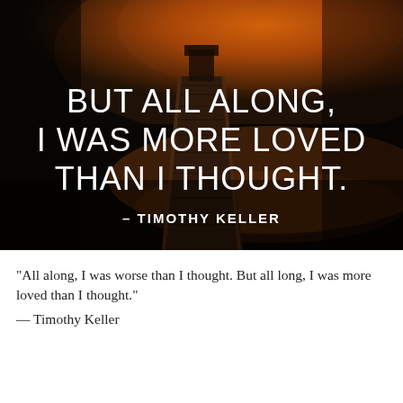[Figure (photo): A wooden dock/pier extending over calm water at sunset/dusk with warm orange and dark tones. Large white text overlaid reads: 'BUT ALL ALONG, I WAS MORE LOVED THAN I THOUGHT.' with attribution '– TIMOTHY KELLER' below in bold.]
“All along, I was worse than I thought. But all long, I was more loved than I thought.”
— Timothy Keller